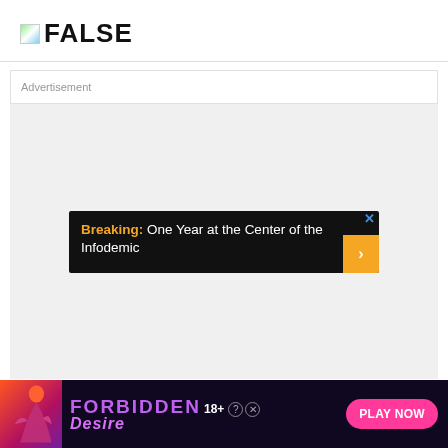FALSE
Advertisement
[Figure (infographic): Advertisement banner: black background with text 'Breaking: One Year at the Center of the Infodemic' with orange Breaking label, X close button, and gold arrow button]
[Figure (infographic): Adult advertisement banner for 'Forbidden Desire 18+' with pink/purple design, silhouette figure, and 'PLAY NOW' button]